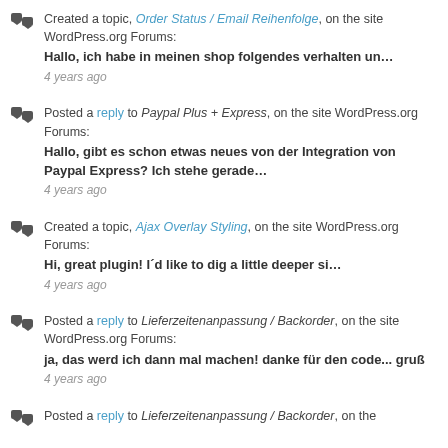Created a topic, Order Status / Email Reihenfolge, on the site WordPress.org Forums: Hallo, ich habe in meinen shop folgendes verhalten un… 4 years ago
Posted a reply to Paypal Plus + Express, on the site WordPress.org Forums: Hallo, gibt es schon etwas neues von der Integration von Paypal Express? Ich stehe gerade… 4 years ago
Created a topic, Ajax Overlay Styling, on the site WordPress.org Forums: Hi, great plugin! I´d like to dig a little deeper si… 4 years ago
Posted a reply to Lieferzeitenanpassung / Backorder, on the site WordPress.org Forums: ja, das werd ich dann mal machen! danke für den code... gruß 4 years ago
Posted a reply to Lieferzeitenanpassung / Backorder, on the